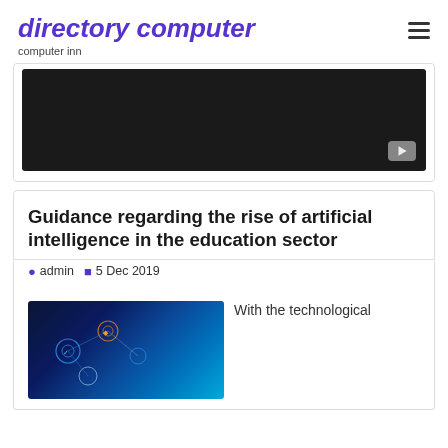directory computer
computer inn
[Figure (screenshot): Dark video player placeholder with YouTube play button in bottom right corner]
Guidance regarding the rise of artificial intelligence in the education sector
admin  5 Dec 2019
[Figure (photo): AI technology concept image with glowing blue circuit board and digital icons on dark background]
With the technological